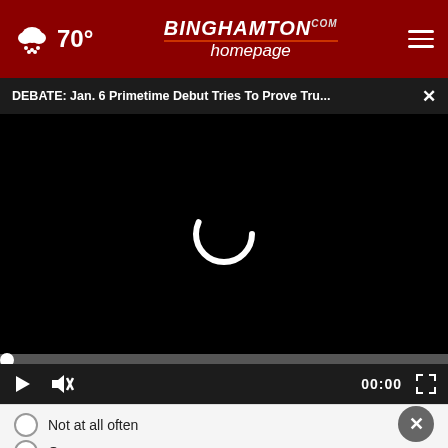70° | BinghamtonHomepage.com
DEBATE: Jan. 6 Primetime Debut Tries To Prove Tru...
[Figure (screenshot): Black video player area with a white loading spinner in the center]
00:00
Not at all often
O
[Figure (illustration): #Dadication ad banner with ACF and Ad Council logos]
NEXT +